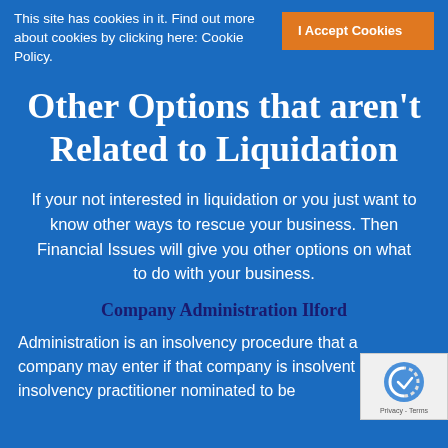This site has cookies in it. Find out more about cookies by clicking here: Cookie Policy.
I Accept Cookies
Other Options that aren't Related to Liquidation
If your not interested in liquidation or you just want to know other ways to rescue your business. Then Financial Issues will give you other options on what to do with your business.
Company Administration Ilford
Administration is an insolvency procedure that a company may enter if that company is insolvent and the insolvency practitioner nominated to be